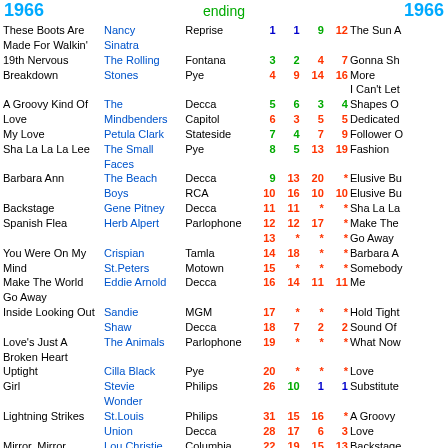1966 ... ending ... 1966
| Song | Artist | Label | N1 | N2 | N3 | N4 | Song2 |
| --- | --- | --- | --- | --- | --- | --- | --- |
| These Boots Are Made For Walkin' | Nancy Sinatra | Reprise | 1 | 1 | 9 | 12 | The Sun A |
| 19th Nervous Breakdown | The Rolling Stones | Decca Fontana Pye | 2 3 4 | 8 2 9 | 12 4 14 | 17 7 16 | Gonna Sh More I Can't Let |
| A Groovy Kind Of Love | The Mindbenders | Decca Capitol | 5 6 | 6 3 | 3 5 | 4 5 | Shapes O Dedicated |
| My Love | Petula Clark | Stateside | 7 | 4 | 7 | 9 | Follower O |
| Sha La La La Lee | The Small Faces | Pye | 8 | 5 | 13 | 19 | Fashion |
| Barbara Ann | The Beach Boys | Decca RCA | 9 10 | 13 16 | 20 10 | * 10 | Elusive Bu Elusive Bu |
| Backstage | Gene Pitney Herb Alpert | Pye Decca Parlophone | 11 12 13 | 11 12 * | * 17 * | * * * | Sha La La Make The Go Away |
| Spanish Flea | Crispian St.Peters | Tamla | 14 | 18 | * | * | Barbara A |
| You Were On My Mind | Eddie Arnold | Motown Decca | 15 16 | * 14 | * 11 | * 11 | Somebody Me |
| Make The World Go Away | Sandie Shaw | MGM | 17 | * | * | * | Hold Tight |
| Tomorrow | The Animals | Decca Parlophone | 18 19 | 7 * | 2 * | 2 * | Sound Of What Now |
| Inside Looking Out | Cilla Black | Pye | 20 | * | * | * | Love |
| Love's Just A Broken Heart | Stevie Wonder | Philips | 26 | 10 | 1 | 1 | Substitute |
| Uptight | St.Louis Union | Philips Decca | 31 28 | 15 17 | 16 6 | * 3 | A Groovy Love |
| Girl | Lou Christie Pinkerton's | Columbia Atlantic Pye | 22 34 * | 19 20 33 | 15 8 18 | 13 6 15 | Backstage These Boo Made For |
| Lightning Strikes | Assorted Colours | Reaction | * | 36 | 19 | * | Lightning |
| Mirror, Mirror | CBS | CBS | * | 48 | 21 | 8 | Blue Turns |
| I Can't Let Go | The Hollis | Fontana | 11 | 21 | 20 | 11 |  |